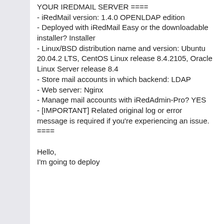YOUR IREDMAIL SERVER ==== - iRedMail version: 1.4.0 OPENLDAP edition - Deployed with iRedMail Easy or the downloadable installer? Installer - Linux/BSD distribution name and version: Ubuntu 20.04.2 LTS, CentOS Linux release 8.4.2105, Oracle Linux Server release 8.4 - Store mail accounts in which backend: LDAP - Web server: Nginx - Manage mail accounts with iRedAdmin-Pro? YES - [IMPORTANT] Related original log or error message is required if you're experiencing an issue. ==== Hello, I'm going to deploy